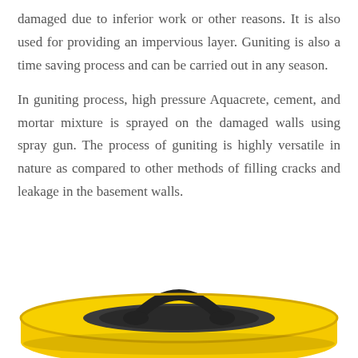damaged due to inferior work or other reasons. It is also used for providing an impervious layer. Guniting is also a time saving process and can be carried out in any season.
In guniting process, high pressure Aquacrete, cement, and mortar mixture is sprayed on the damaged walls using spray gun. The process of guniting is highly versatile in nature as compared to other methods of filling cracks and leakage in the basement walls.
[Figure (photo): A yellow circular device (resembling a reel or spool) with a black handle/strap on top, photographed from a slightly elevated angle on a white background.]